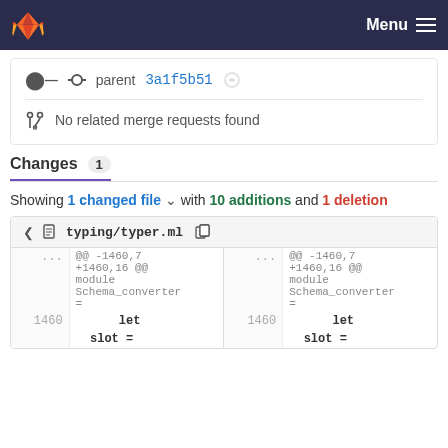GitLab — Menu
parent 3a1f5b51
No related merge requests found
Changes 1
Showing 1 changed file with 10 additions and 1 deletion
typing/typer.ml
@@ -1460,7 +1460,16 @@ module Schema_converter =
1460    let
     slot =